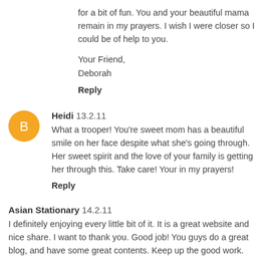for a bit of fun. You and your beautiful mama remain in my prayers. I wish I were closer so I could be of help to you.
Your Friend,
Deborah
Reply
Heidi 13.2.11
What a trooper! You're sweet mom has a beautiful smile on her face despite what she's going through. Her sweet spirit and the love of your family is getting her through this. Take care! Your in my prayers!
Reply
Asian Stationary 14.2.11
I definitely enjoying every little bit of it. It is a great website and nice share. I want to thank you. Good job! You guys do a great blog, and have some great contents. Keep up the good work.